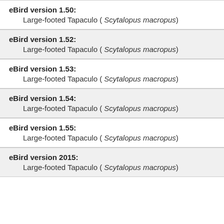eBird version 1.50: Large-footed Tapaculo ( Scytalopus macropus)
eBird version 1.52: Large-footed Tapaculo ( Scytalopus macropus)
eBird version 1.53: Large-footed Tapaculo ( Scytalopus macropus)
eBird version 1.54: Large-footed Tapaculo ( Scytalopus macropus)
eBird version 1.55: Large-footed Tapaculo ( Scytalopus macropus)
eBird version 2015: Large-footed Tapaculo ( Scytalopus macropus)